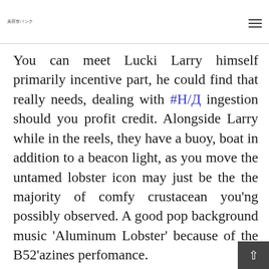美容室パンク
You can meet Lucki Larry himself primarily incentive part, he could find that really needs, dealing with #Н/Д ingestion should you profit credit. Alongside Larry while in the reels, they have a buoy, boat in addition to a beacon light, as you move the untamed lobster icon may just be the the majority of comfy crustacean you'ng possibly observed. A good pop background music 'Aluminum Lobster' because of the B52'azines perfomance.